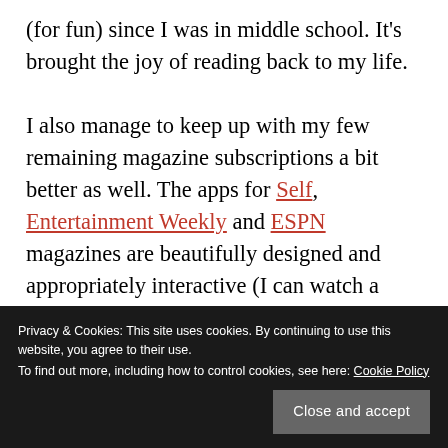(for fun) since I was in middle school. It's brought the joy of reading back to my life.

I also manage to keep up with my few remaining magazine subscriptions a bit better as well. The apps for Self, Entertainment Weekly and ESPN magazines are beautifully designed and appropriately interactive (I can watch a workout demo from Self, for instance, without loading a video). All of these apps create a far better experience than accessing any of these publications online – hence why I never visit their websites.
Privacy & Cookies: This site uses cookies. By continuing to use this website, you agree to their use. To find out more, including how to control cookies, see here: Cookie Policy
(or redesign) our news sites, user experience seems to